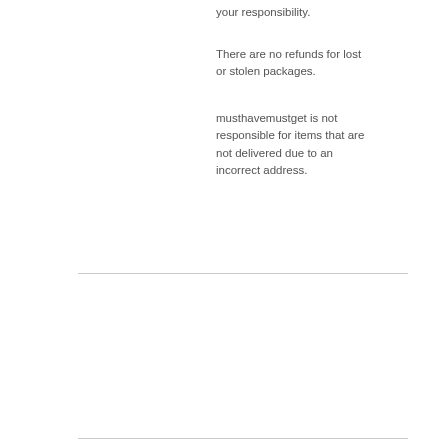your responsibility.
There are no refunds for lost or stolen packages.
musthavemustget is not responsible for items that are not delivered due to an incorrect address.